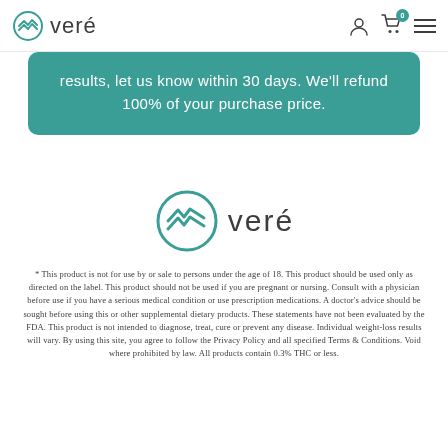veré [navigation bar with logo, user icon, cart icon, menu icon]
results, let us know within 30 days. We'll refund 100% of your purchase price.
[Figure (logo): Veré logo — teal circular chevron icon with the word 'veré' in gray]
* This product is not for use by or sale to persons under the age of 18. This product should be used only as directed on the label. This product should not be used if you are pregnant or nursing. Consult with a physician before use if you have a serious medical condition or use prescription medications. A doctor's advice should be sought before using this or other supplemental dietary products. These statements have not been evaluated by the FDA. This product is not intended to diagnose, treat, cure or prevent any disease. Individual weight-loss results will vary. By using this site, you agree to follow the Privacy Policy and all specified Terms & Conditions. Void where prohibited by law. All products contain 0.3% THC or less.